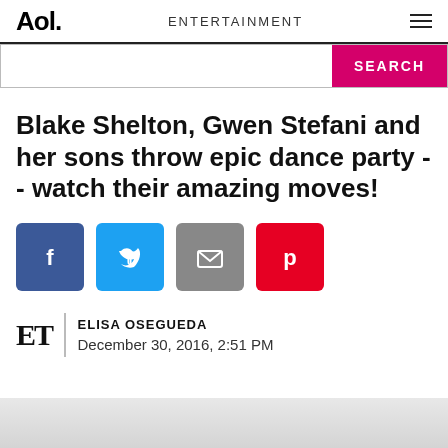Aol. ENTERTAINMENT
[Figure (screenshot): Search bar with pink SEARCH button]
Blake Shelton, Gwen Stefani and her sons throw epic dance party -- watch their amazing moves!
[Figure (infographic): Social share buttons: Facebook, Twitter, Email, Pinterest]
ELISA OSEGUEDA
December 30, 2016, 2:51 PM